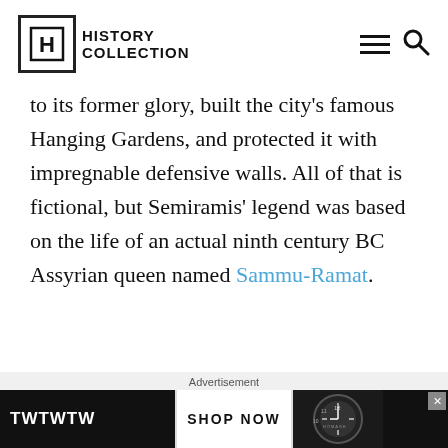History Collection
to its former glory, built the city’s famous Hanging Gardens, and protected it with impregnable defensive walls. All of that is fictional, but Semiramis’ legend was based on the life of an actual ninth century BC Assyrian queen named Sammu-Ramat.
[Figure (photo): Painting or relief of a winged female figure (Semiramis) with golden wings against a teal/dark background]
Advertisement
[Figure (photo): Advertisement banner for TWTWTW with SHOP NOW button and watch imagery]